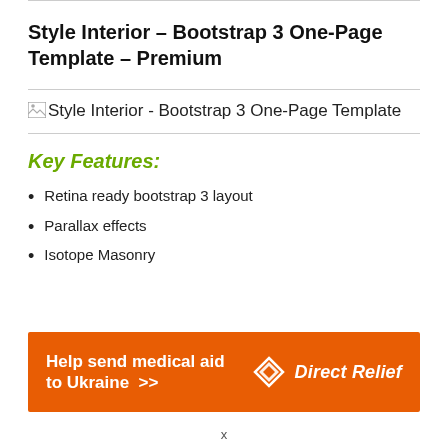Style Interior – Bootstrap 3 One-Page Template – Premium
[Figure (illustration): Broken image placeholder with alt text: Style Interior - Bootstrap 3 One-Page Template]
Key Features:
Retina ready bootstrap 3 layout
Parallax effects
Isotope Masonry
[Figure (other): Orange advertisement banner: Help send medical aid to Ukraine >> with Direct Relief logo]